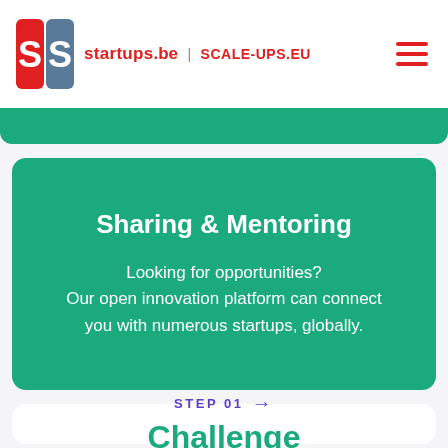startups.be | SCALE-UPS.EU
Sharing & Mentoring
Looking for opportunities? Our open innovation platform can connect you with numerous startups, globally.
STEP 01 →
Challenge